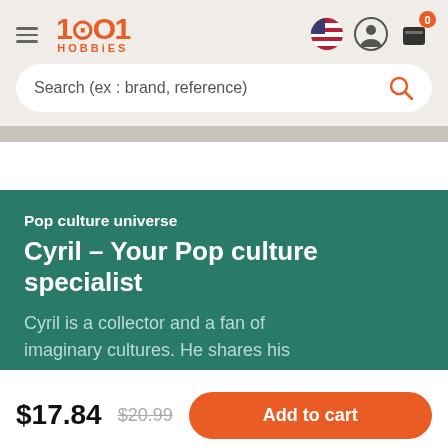1001 HOBBIES
Search (ex : brand, reference)
Pop culture universe
Cyril – Your Pop culture specialist
Cyril is a collector and a fan of imaginary cultures. He shares his
$17.84  $20.99  Add to cart